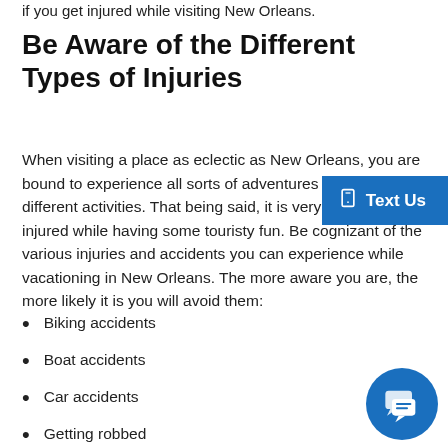if you get injured while visiting New Orleans.
Be Aware of the Different Types of Injuries
When visiting a place as eclectic as New Orleans, you are bound to experience all sorts of adventures and get into different activities. That being said, it is very possible to get injured while having some touristy fun. Be cognizant of the various injuries and accidents you can experience while vacationing in New Orleans. The more aware you are, the more likely it is you will avoid them:
Biking accidents
Boat accidents
Car accidents
Getting robbed
Being scammed